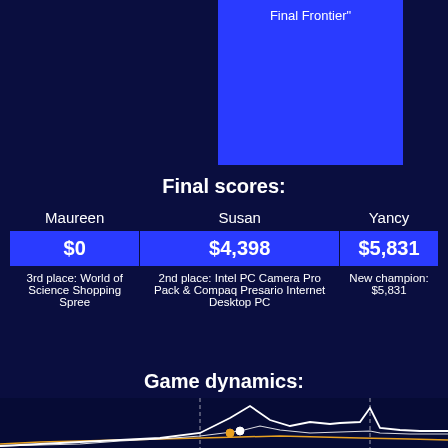[Figure (other): Blue box area with text 'Final Frontier"' on dark navy background]
Final scores:
| Maureen | Susan | Yancy |
| --- | --- | --- |
| $0 | $4,398 | $5,831 |
| 3rd place: World of Science Shopping Spree | 2nd place: Intel PC Camera Pro Pack & Compaq Presario Internet Desktop PC | New champion: $5,831 |
Game dynamics:
[Figure (line-chart): Game dynamics line chart showing score trajectories for Maureen (orange), Susan (cyan), and Yancy (white) over time. Yancy leads with peak around $5,831, Susan at $4,398, Maureen at $0. Chart has dashed vertical lines and colored dots marking key positions.]